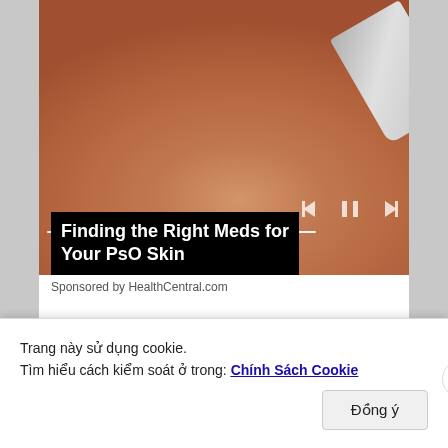[Figure (photo): Close-up photo of a hand with cream being squeezed from a tube onto the palm, with a green background. Media player controls (previous, pause, next) and a progress bar are overlaid on the image.]
Finding the Right Meds for Your PsO Skin
Sponsored by HealthCentral.com
[Figure (photo): Photo of a blonde woman with eyes closed, appearing distressed or in thought, wearing a yellow/orange top, with a blurred indoor background.]
Trang này sử dụng cookie.
Tìm hiểu cách kiểm soát ở trong: Chính Sách Cookie
Đồng ý